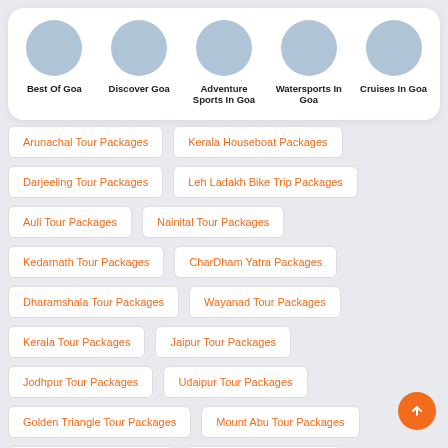[Figure (infographic): Circular icon navigation row with 5 Goa travel categories: Best Of Goa, Discover Goa, Adventure Sports In Goa, Watersports In Goa, Cruises In Goa]
Arunachal Tour Packages
Kerala Houseboat Packages
Darjeeling Tour Packages
Leh Ladakh Bike Trip Packages
Auli Tour Packages
Nainital Tour Packages
Kedarnath Tour Packages
CharDham Yatra Packages
Dharamshala Tour Packages
Wayanad Tour Packages
Kerala Tour Packages
Jaipur Tour Packages
Jodhpur Tour Packages
Udaipur Tour Packages
Golden Triangle Tour Packages
Mount Abu Tour Packages
Ranthambore Tour Package
Cordelia Cruise Packages